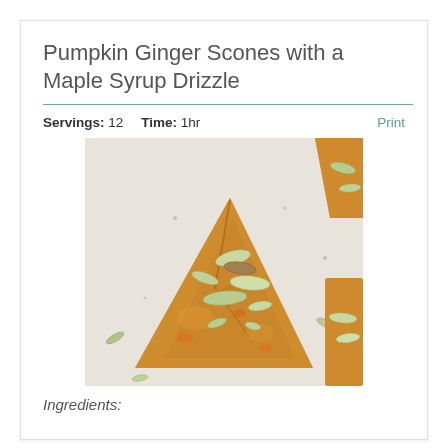Pumpkin Ginger Scones with a Maple Syrup Drizzle
Servings: 12    Time: 1hr    Print
[Figure (photo): Close-up overhead photo of a triangular pumpkin ginger scone topped with pepitas (pumpkin seeds) on parchment paper, with partial scones visible at the edges]
Ingredients: